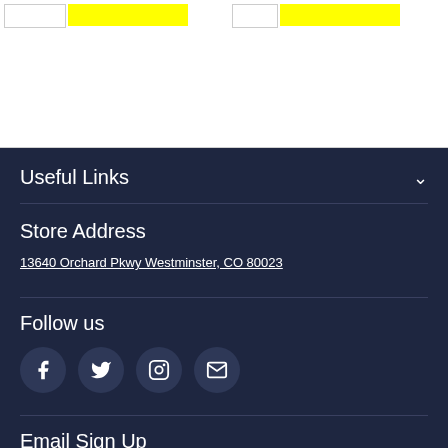Useful Links
Store Address
13640 Orchard Pkwy Westminster, CO 80023
Follow us
[Figure (other): Social media icons: Facebook, Twitter, Instagram, Email]
Email Sign Up